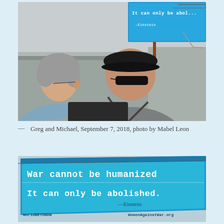[Figure (photo): Two people standing outdoors, seen from behind, one wearing a blue shirt with gray hair and the other wearing a gray shirt and black cap with a camera strap. They are holding or near a sign that reads 'Want Peace?' A blue billboard is visible in the upper right background with text 'It can only be abolished.']
— Greg and Michael, September 7, 2018, photo by Mabel Leon
[Figure (photo): Close-up photo of a blue billboard or sign reading 'War cannot be humanized / It can only be abolished. / —Einstein / WorldBEYONDW... / WomenAgainstWar.org']